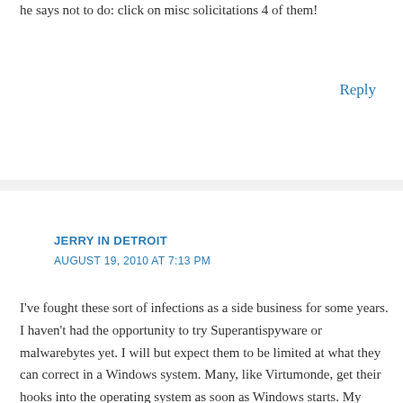he says not to do: click on misc solicitations 4 of them!
Reply
JERRY IN DETROIT
AUGUST 19, 2010 AT 7:13 PM
I've fought these sort of infections as a side business for some years. I haven't had the opportunity to try Superantispyware or malwarebytes yet. I will but expect them to be limited at what they can correct in a Windows system. Many, like Virtumonde, get their hooks into the operating system as soon as Windows starts. My solution was to disconnect the computer from the Internet, trim down as much as possible & identify the